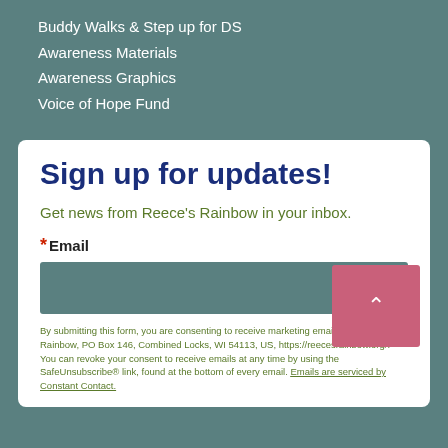Buddy Walks & Step up for DS
Awareness Materials
Awareness Graphics
Voice of Hope Fund
Sign up for updates!
Get news from Reece's Rainbow in your inbox.
*Email
By submitting this form, you are consenting to receive marketing emails from: Reece's Rainbow, PO Box 146, Combined Locks, WI 54113, US, https://reecesrainbow.org/. You can revoke your consent to receive emails at any time by using the SafeUnsubscribe® link, found at the bottom of every email. Emails are serviced by Constant Contact.